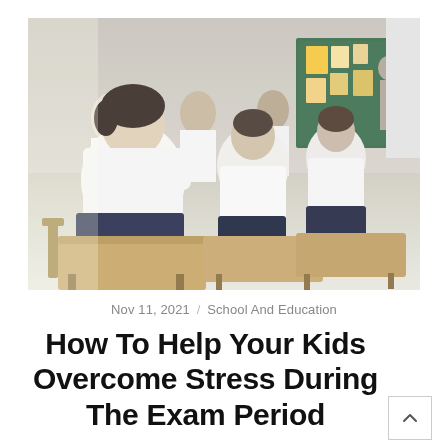[Figure (photo): Students in school uniforms (white tops, dark skirts) sitting at wooden desks in a classroom, viewed from behind, with a green chalkboard at the front.]
Nov 11, 2021 / School And Education
How To Help Your Kids Overcome Stress During The Exam Period